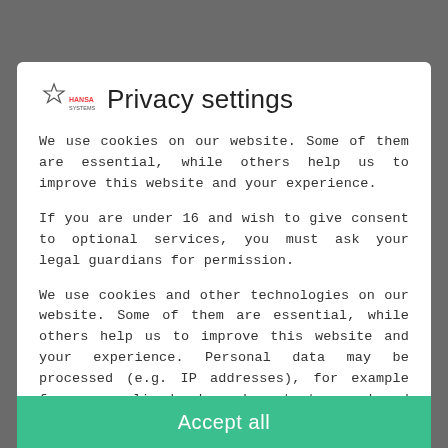Privacy settings
We use cookies on our website. Some of them are essential, while others help us to improve this website and your experience.
If you are under 16 and wish to give consent to optional services, you must ask your legal guardians for permission.
We use cookies and other technologies on our website. Some of them are essential, while others help us to improve this website and your experience. Personal data may be processed (e.g. IP addresses), for example for personalized ads and content or ad and content
Essenziell
External media